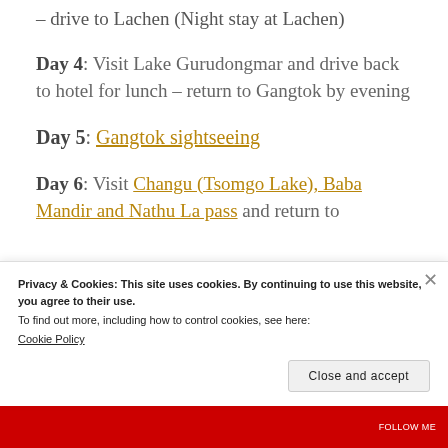– drive to Lachen (Night stay at Lachen)
Day 4: Visit Lake Gurudongmar and drive back to hotel for lunch – return to Gangtok by evening
Day 5: Gangtok sightseeing
Day 6: Visit Changu (Tsomgo Lake), Baba Mandir and Nathu La pass and return to
Privacy & Cookies: This site uses cookies. By continuing to use this website, you agree to their use.
To find out more, including how to control cookies, see here:
Cookie Policy
Close and accept